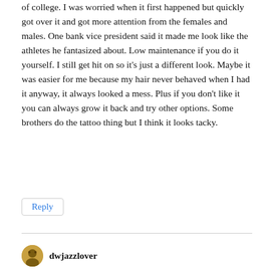of college. I was worried when it first happened but quickly got over it and got more attention from the females and males. One bank vice president said it made me look like the athletes he fantasized about. Low maintenance if you do it yourself. I still get hit on so it's just a different look. Maybe it was easier for me because my hair never behaved when I had it anyway, it always looked a mess. Plus if you don't like it you can always grow it back and try other options. Some brothers do the tattoo thing but I think it looks tacky.
Reply
dwjazzlover